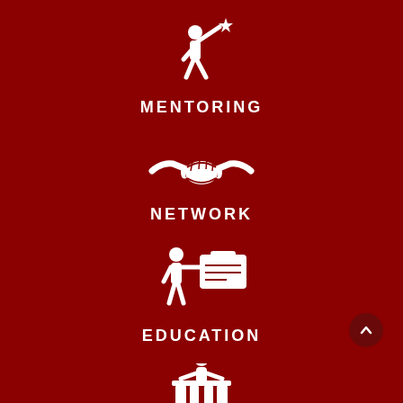[Figure (illustration): White icon of a person reaching toward a star, representing mentoring]
MENTORING
[Figure (illustration): White icon of two hands shaking, representing networking]
NETWORK
[Figure (illustration): White icon of a person presenting or teaching with a briefcase/board, representing education]
EDUCATION
[Figure (illustration): White icon of a person at a podium/desk, partially visible at bottom of page]